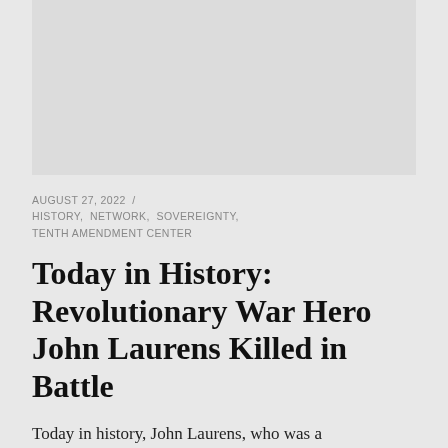[Figure (photo): Gray placeholder image area at top of article page]
AUGUST 27, 2022  /
HISTORY,  NETWORK,  SOVEREIGNTY,
TENTH AMENDMENT CENTER
Today in History: Revolutionary War Hero John Laurens Killed in Battle
Today in history, John Laurens, who was a Revolutionary War hero and a close confidante of George Washington, was killed in the Battle of the Combahee River. He was also a